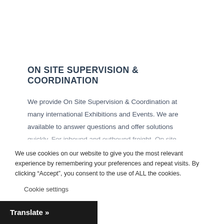ON SITE SUPERVISION & COORDINATION
We provide On Site Supervision & Coordination at many international Exhibitions and Events. We are available to answer questions and offer solutions quickly. For inbound and outbound freight. On site
We use cookies on our website to give you the most relevant experience by remembering your preferences and repeat visits. By clicking “Accept”, you consent to the use of ALL the cookies.
Cookie settings
Translate »